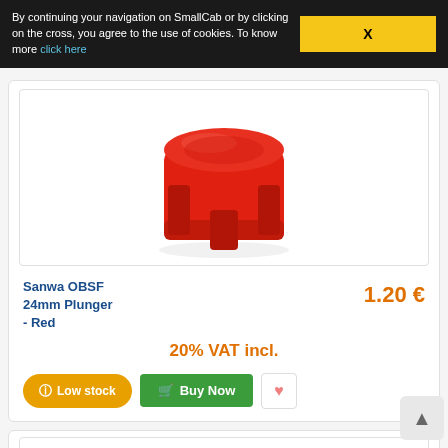By continuing your navigation on SmallCab or by clicking on the cross, you agree to the use of cookies. To know more click here
[Figure (photo): Red cylindrical push button plunger (Sanwa OBSF 24mm), viewed from below showing the clip slots, on white background]
Sanwa OBSF 24mm Plunger - Red
1.20 €
20% VAT incl.
Low stock
Buy Now
[Figure (photo): Blue cylindrical push button plunger (Sanwa OBSF 24mm), partially visible at bottom of page]